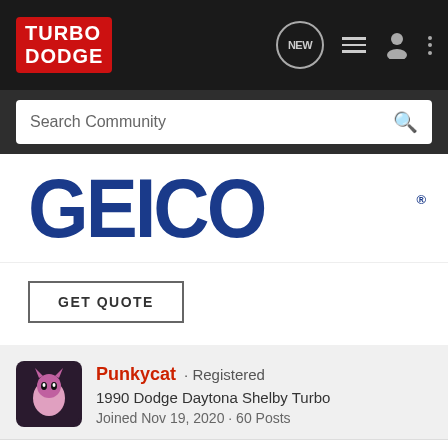TURBO DODGE — Navigation bar with search
[Figure (logo): Geico ad banner with large blue GEICO text and registered trademark symbol, with GET QUOTE button]
Punkycat · Registered
1990 Dodge Daytona Shelby Turbo
Joined Nov 19, 2020 · 60 Posts
Discussion Starter · #45 · Nov 26, 2021
I also have found a few other things that are plugged in, maybe you know what they are?